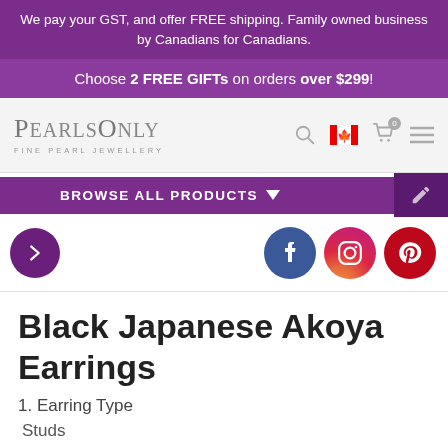We pay your GST, and offer FREE shipping. Family owned business by Canadians for Canadians.
Choose 2 FREE GIFTs on orders over $299!
[Figure (logo): PearlsOnly Fine Pearl Jewellery logo with navigation icons (search, Canadian flag, cart, hamburger menu)]
BROWSE ALL PRODUCTS
[Figure (infographic): Navigation row with purple arrow button on left and Facebook, Instagram, Pinterest social icons on right]
Black Japanese Akoya Earrings
1. Earring Type
Studs
All women should have in their possession at least one pair of black Japanese Akoya earrings in their jewellery...